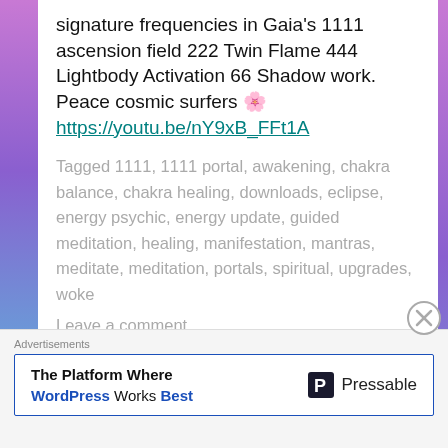signature frequencies in Gaia's 1111 ascension field 222 Twin Flame 444 Lightbody Activation 66 Shadow work. Peace cosmic surfers 🌸 https://youtu.be/nY9xB_FFt1A
Tagged 1111, 1111 portal, awakening, chakra balance, chakra healing, downloads, eclipse, energy psychic, energy update, guided meditation, healing, manifestation, mantras, meditate, meditation, portals, spiritual, upgrades, woke
Leave a comment
Advertisements
The Platform Where WordPress Works Best | Pressable